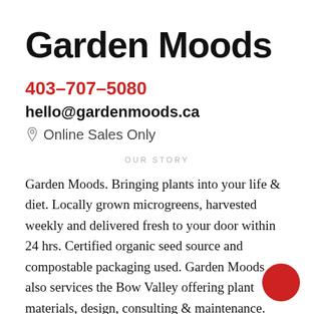Garden Moods
403-707-5080
hello@gardenmoods.ca
Online Sales Only
OUR STORY
Garden Moods. Bringing plants into your life & diet. Locally grown microgreens, harvested weekly and delivered fresh to your door within 24 hrs. Certified organic seed source and compostable packaging used. Garden Moods also services the Bow Valley offering plant materials, design, consulting & maintenance. Residential or commercial. Creative options for "greening" your spa